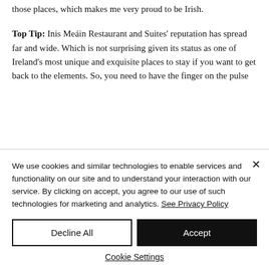those places, which makes me very proud to be Irish.
Top Tip: Inis Meáin Restaurant and Suites' reputation has spread far and wide. Which is not surprising given its status as one of Ireland's most unique and exquisite places to stay if you want to get back to the elements. So, you need to have the finger on the pulse
We use cookies and similar technologies to enable services and functionality on our site and to understand your interaction with our service. By clicking on accept, you agree to our use of such technologies for marketing and analytics. See Privacy Policy
Decline All
Accept
Cookie Settings